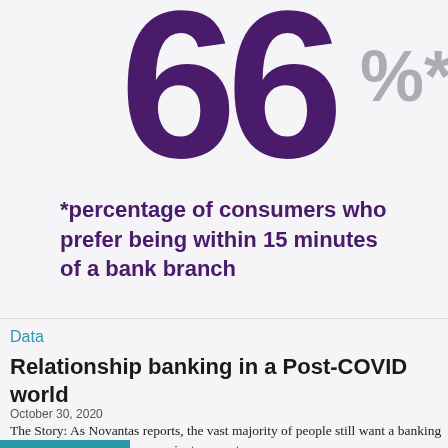66%*
*percentage of consumers who prefer being within 15 minutes of a bank branch
Data
Relationship banking in a Post-COVID world
October 30, 2020
The Story: As Novantas reports, the vast majority of people still want a banking relationship that offers convenient access to …